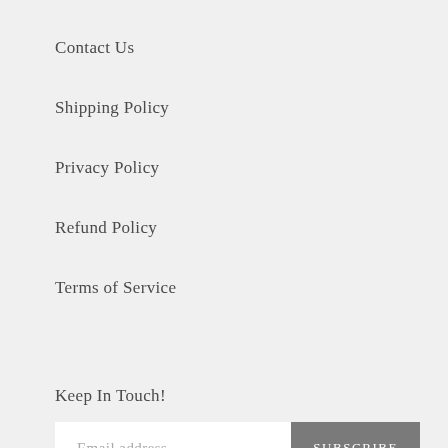Contact Us
Shipping Policy
Privacy Policy
Refund Policy
Terms of Service
Keep In Touch!
Email address  SUBSCRIBE